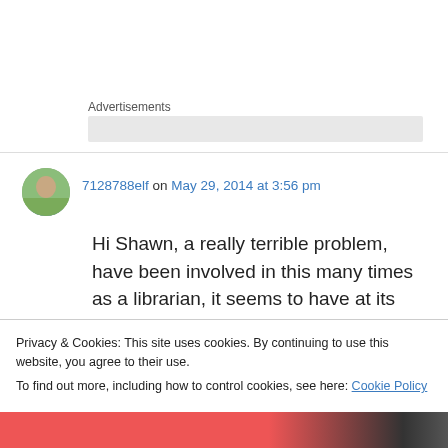Advertisements
7128788elf on May 29, 2014 at 3:56 pm
Hi Shawn, a really terrible problem, have been involved in this many times as a librarian, it seems to have at its center the odd way that societies in general and governments in
Privacy & Cookies: This site uses cookies. By continuing to use this website, you agree to their use.
To find out more, including how to control cookies, see here: Cookie Policy
Close and accept